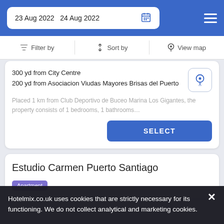23 Aug 2022   24 Aug 2022
Filter by   Sort by   View map
300 yd from City Centre
200 yd from Asociacion Viudas Mayores Brisas del Puerto
Placed 1 km from Club Deportivo de Buceo Marina Los Gigantes, the property consists of 1 bedrooms, 1 bathrooms…
SELECT
Estudio Carmen Puerto Santiago
Apartment
Hotelmix.co.uk uses cookies that are strictly necessary for its functioning. We do not collect analytical and marketing cookies.